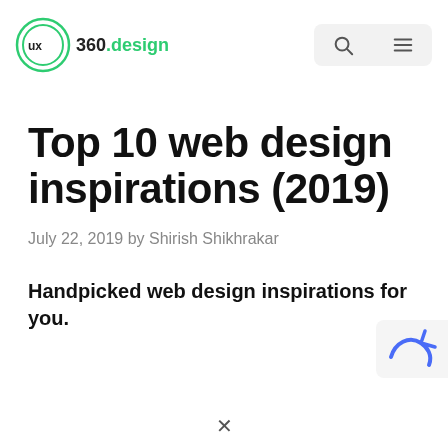ux 360.design
Top 10 web design inspirations (2019)
July 22, 2019 by Shirish Shikhrakar
Handpicked web design inspirations for you.